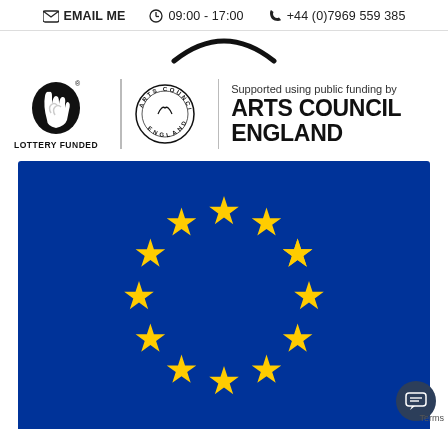EMAIL ME  09:00 - 17:00  +44 (0)7969 559 385
[Figure (logo): Decorative swoosh/arc shape at top center]
[Figure (logo): National Lottery and Arts Council England logo: Lottery hand logo with LOTTERY FUNDED label, Arts Council England circular badge, and text 'Supported using public funding by ARTS COUNCIL ENGLAND']
[Figure (illustration): European Union flag: blue rectangle with circle of 12 yellow stars]
Terms